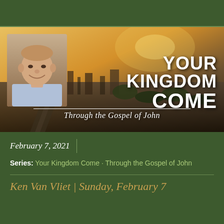[Figure (photo): Banner image showing aerial view of a city at sunset/golden hour with a speaker photo inset. Text overlay reads YOUR KINGDOM COME and Through the Gospel of John.]
February 7, 2021
Series: Your Kingdom Come · Through the Gospel of John
Ken Van Vliet | Sunday, February 7